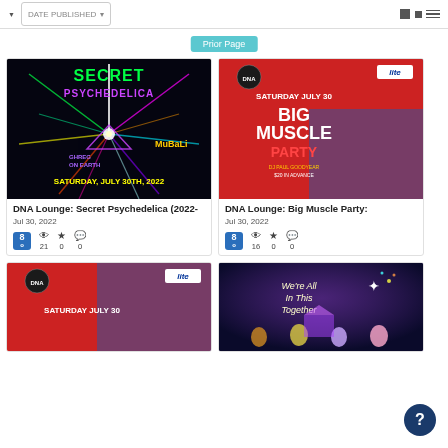DATE PUBLISHED
Prior Page
[Figure (photo): Event poster for DNA Lounge Secret Psychedelica 2022, dark background with colorful laser art, text: SECRET PSYCHEDELICA, SATURDAY JULY 30TH 2022]
DNA Lounge: Secret Psychedelica (2022-
Jul 30, 2022
21  0  0
[Figure (photo): Event poster for DNA Lounge Big Muscle Party, red background with shirtless man, Miller Lite logo, text: BIG MUSCLE PARTY, SATURDAY JULY 30]
DNA Lounge: Big Muscle Party:
Jul 30, 2022
16  0  0
[Figure (photo): Partial event poster for DNA Lounge Big Muscle Party (same as above), red and blue tones]
[Figure (photo): Event poster showing We're All In This Together, dark purple background with people and fireworks imagery]